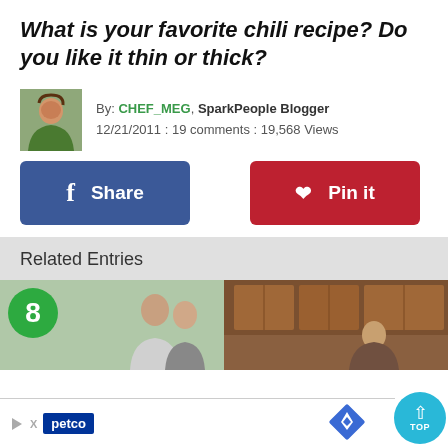What is your favorite chili recipe? Do you like it thin or thick?
By: CHEF_MEG, SparkPeople Blogger
12/21/2011 : 19 comments : 19,568 Views
[Figure (other): Facebook Share button (blue) and Pinterest Pin it button (red)]
Related Entries
[Figure (photo): Two related entry thumbnail images: left shows a green circle with number 8 and people, right shows a kitchen scene with a woman]
[Figure (other): Advertisement bar at bottom with Petco logo, navigation diamond icon, and TOP button]